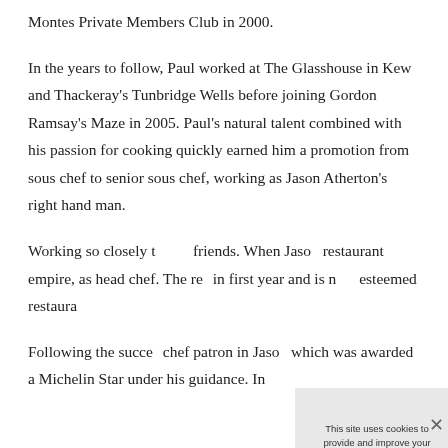Montes Private Members Club in 2000.
In the years to follow, Paul worked at The Glasshouse in Kew and Thackeray's Tunbridge Wells before joining Gordon Ramsay's Maze in 2005. Paul's natural talent combined with his passion for cooking quickly earned him a promotion from sous chef to senior sous chef, working as Jason Atherton's right hand man.
Working so closely t... friends. When Jaso... restaurant empire, ... as head chef. The re... in first year and is n... esteemed restaura...
Following the succe... chef patron in Jaso... which was awarded a Michelin Star under his guidance. In...
[Figure (other): Cookie consent overlay dialog with text: 'This site uses cookies to provide and improve your shopping experience. If you want to benefit from this improved service, please opt-in. Cookies Page.' with 'I opt-in to a better browsing experience' link and 'ACCEPT COOKIES' button. A close X button is in the top right corner.]